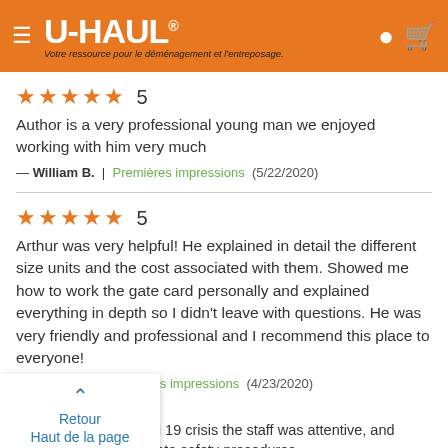U-HAUL — Votre ressource pour le déménagement et l'entreposage.
★★★★★ 5
Author is a very professional young man we enjoyed working with him very much
— William B. | Premières impressions (5/22/2020)
★★★★★ 5
Arthur was very helpful! He explained in detail the different size units and the cost associated with them. Showed me how to work the gate card personally and explained everything in depth so I didn't leave with questions. He was very friendly and professional and I recommend this place to everyone!
— Tiffany P. | Premières impressions (4/23/2020)
Retour
Haut de la page
Even during this Covid 19 crisis the staff was attentive, and implemented appropriate safety procedures